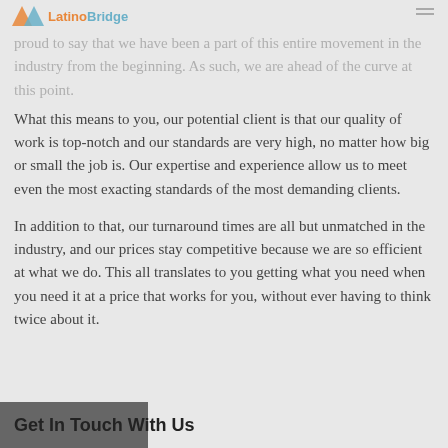LatinoBridge
proud to say that we have been a part of this entire movement in the industry from the beginning. As such, we are ahead of the curve at this point.
What this means to you, our potential client is that our quality of work is top-notch and our standards are very high, no matter how big or small the job is. Our expertise and experience allow us to meet even the most exacting standards of the most demanding clients.
In addition to that, our turnaround times are all but unmatched in the industry, and our prices stay competitive because we are so efficient at what we do. This all translates to you getting what you need when you need it at a price that works for you, without ever having to think twice about it.
Get In Touch With Us